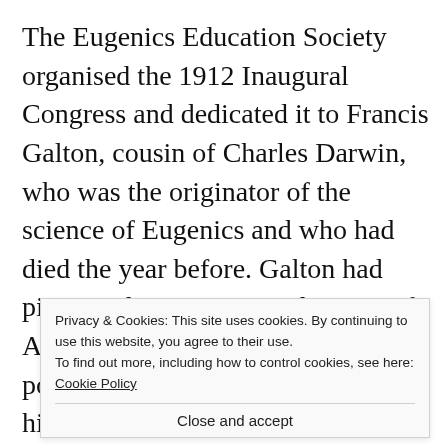The Eugenics Education Society organised the 1912 Inaugural Congress and dedicated it to Francis Galton, cousin of Charles Darwin, who was the originator of the science of Eugenics and who had died the year before. Galton had pioneered Eugenics, partly to justify Anglo-Saxon world domination by popularising the idea of race hierarchy, with the Anglo-Saxons at the top and the “lesser races” b... 7... C... n...
Privacy & Cookies: This site uses cookies. By continuing to use this website, you agree to their use.
To find out more, including how to control cookies, see here: Cookie Policy
Close and accept